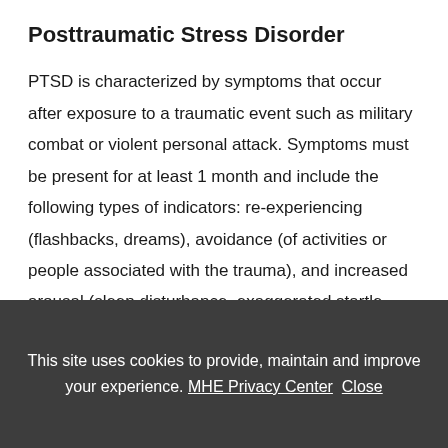Posttraumatic Stress Disorder
PTSD is characterized by symptoms that occur after exposure to a traumatic event such as military combat or violent personal attack. Symptoms must be present for at least 1 month and include the following types of indicators: re-experiencing (flashbacks, dreams), avoidance (of activities or people associated with the trauma), and increased arousal (sleep disturbance, exaggerated startle
This site uses cookies to provide, maintain and improve your experience. MHE Privacy Center  Close